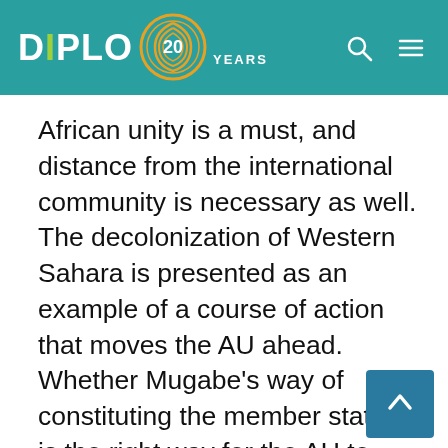DiPLO 20 YEARS
African unity is a must, and distance from the international community is necessary as well. The decolonization of Western Sahara is presented as an example of a course of action that moves the AU ahead. Whether Mugabe's way of constituting the member states is the right way for the AU to move forward can be questioned, but this is not the aim of this blog. However, an alternative way of constituting the AU could be to redefine the collective identity by focusing more on the establishment of the AU in 2002 instead of drawing parallels all the way back to 1963. This could contribute to a new